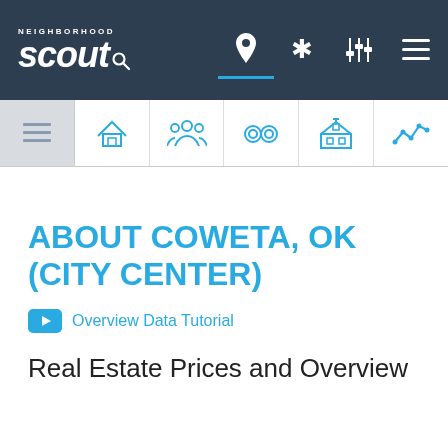Neighborhood Scout - navigation header with logo and icons
[Figure (screenshot): Navigation icon bar with overview, home, people, crime/handcuffs, school/government building, and chart icons]
ABOUT COWETA, OK (CITY CENTER)
Overview Data Tutorial
Real Estate Prices and Overview